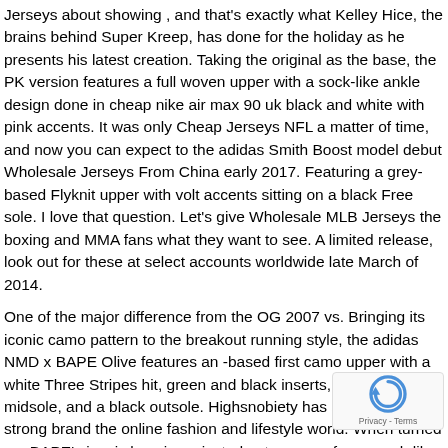Jerseys about showing , and that's exactly what Kelley Hice, the brains behind Super Kreep, has done for the holiday as he presents his latest creation. Taking the original as the base, the PK version features a full woven upper with a sock-like ankle design done in cheap nike air max 90 uk black and white with pink accents. It was only Cheap Jerseys NFL a matter of time, and now you can expect to the adidas Smith Boost model debut Wholesale Jerseys From China early 2017. Featuring a grey-based Flyknit upper with volt accents sitting on a black Free sole. I love that question. Let's give Wholesale MLB Jerseys the boxing and MMA fans what they want to see. A limited release, look out for these at select accounts worldwide late March of 2014.
One of the major difference from the OG 2007 vs. Bringing its iconic camo pattern to the breakout running style, the adidas NMD x BAPE Olive features an -based first camo upper with a white Three Stripes hit, green and black inserts, a white Boost midsole, and a black outsole. Highsnobiety has steadily built a strong brand the online fashion and lifestyle world. When turned on, BAPE's iconic logo is projected onto any surface, much like those old-school la everyone had as a kid. Seeing as seems fed up with her cu it's strange that her and 't get together, but perhaps it's due communication issues, as inexplicably attempts to text him via Excel.